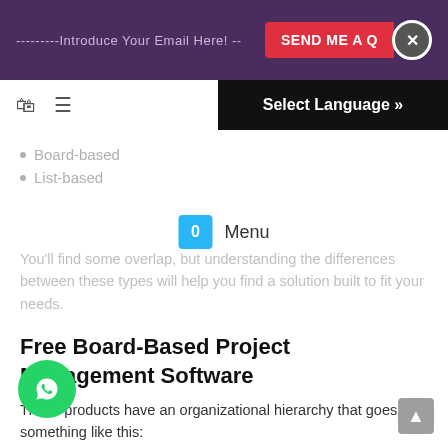---------Introduce Your Email Here! -- SEND ME A Q X
Select Language »
Board-based
List-based
You'll find some overlap, but understanding the differences between these types will help you find a solution built to fit your needs.
Free Board-Based Project Management Software
These products have an organizational hierarchy that goes something like this:
Team → Board → List → Card